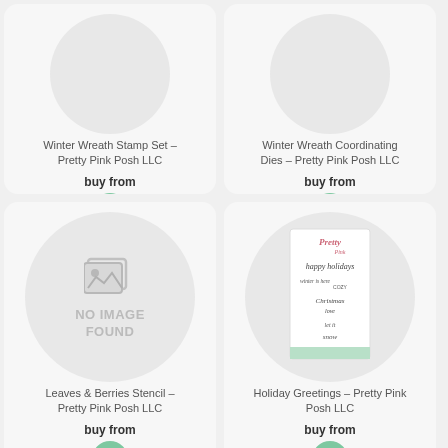[Figure (illustration): Card with circle placeholder area for Winter Wreath Stamp Set product]
Winter Wreath Stamp Set – Pretty Pink Posh LLC
buy from
[Figure (logo): Pretty Pink Posh logo - green circle with P]
[Figure (illustration): Card with circle placeholder area for Winter Wreath Coordinating Dies product]
Winter Wreath Coordinating Dies – Pretty Pink Posh LLC
buy from
[Figure (logo): Pretty Pink Posh logo - green circle with P]
[Figure (illustration): Card showing NO IMAGE FOUND placeholder with image icon]
Leaves & Berries Stencil – Pretty Pink Posh LLC
buy from
[Figure (logo): Pretty Pink Posh logo - green circle with P]
[Figure (photo): Card showing Holiday Greetings stamp set product image - a stamp sheet with holiday text stamps]
Holiday Greetings – Pretty Pink Posh LLC
buy from
[Figure (logo): Pretty Pink Posh logo - green circle with P]